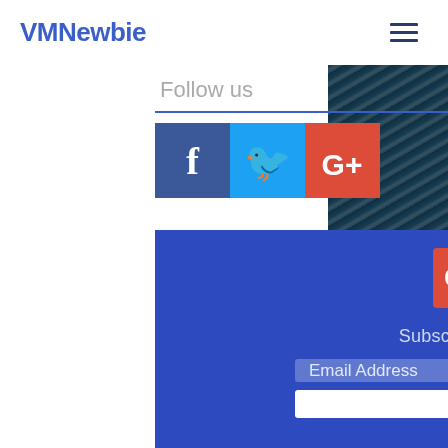VMNewbie
Follow us
[Figure (screenshot): Social media icons: Facebook (blue), Twitter (light blue), Google+ (red)]
[Figure (screenshot): Footer social icons: Google+ (red square), Twitter bird (white), LinkedIn 'in' (white)]
Subscribe for V & W JR Updates!
Email Address
Subscribe
© 2018 by V & W JR